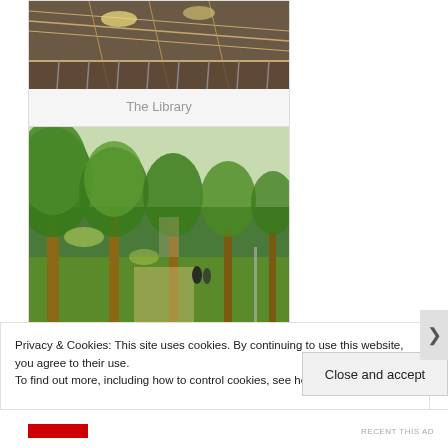[Figure (photo): Interior of a library with ceiling lights and railings]
The Library
[Figure (photo): Outdoor campus scene with large green trees, grass, and people walking on a path]
Privacy & Cookies: This site uses cookies. By continuing to use this website, you agree to their use.
To find out more, including how to control cookies, see here: Cookie Policy
Close and accept
RECENT THIS AD